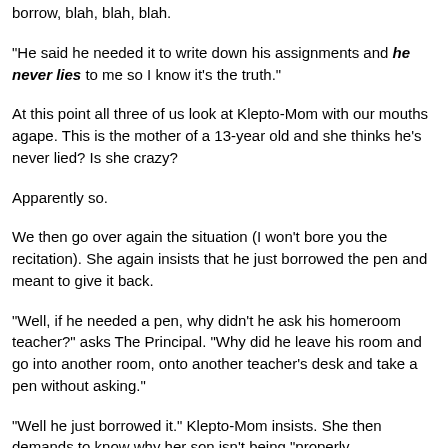borrow, blah, blah, blah.
"He said he needed it to write down his assignments and he never lies to me so I know it's the truth."
At this point all three of us look at Klepto-Mom with our mouths agape. This is the mother of a 13-year old and she thinks he's never lied? Is she crazy?
Apparently so.
We then go over again the situation (I won't bore you the recitation). She again insists that he just borrowed the pen and meant to give it back.
"Well, if he needed a pen, why didn't he ask his homeroom teacher?" asks The Principal. "Why did he leave his room and go into another room, onto another teacher's desk and take a pen without asking."
"Well he just borrowed it." Klepto-Mom insists. She then demands to know why her son isn't being "properly